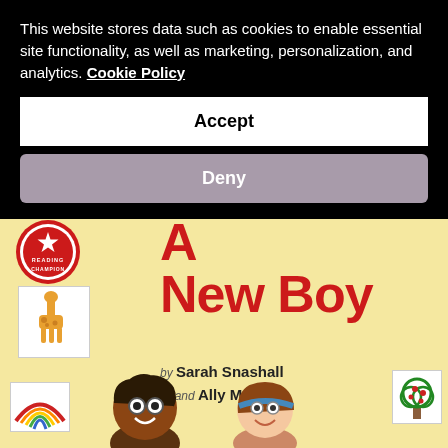This website stores data such as cookies to enable essential site functionality, as well as marketing, personalization, and analytics. Cookie Policy
Accept
Deny
[Figure (illustration): Book cover for 'A New Boy' by Sarah Snashall and Ally Marie. Yellow background with a red 'Reading Champion' badge seal in top left, large red handwritten-style title text 'A New Boy', a giraffe illustration card, a rainbow illustration card, a tree illustration card, and two children characters (a boy with glasses and a girl with a headband) at the bottom.]